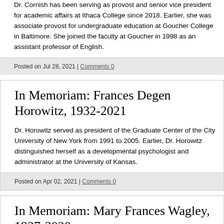Dr. Cornish has been serving as provost and senior vice president for academic affairs at Ithaca College since 2018. Earlier, she was associate provost for undergraduate education at Goucher College in Baltimore. She joined the faculty at Goucher in 1998 as an assistant professor of English.
Posted on Jul 28, 2021 | Comments 0
In Memoriam: Frances Degen Horowitz, 1932-2021
Dr. Horowitz served as president of the Graduate Center of the City University of New York from 1991 to 2005. Earlier, Dr. Horowitz distinguished herself as a developmental psychologist and administrator at the University of Kansas.
Posted on Apr 02, 2021 | Comments 0
In Memoriam: Mary Frances Wagley, 1927-2020
After earning degrees in chemistry at MIT and Oxford Univerity, Dr. Wagley began her teaching career at Smith College in Northampton, Massachusetts. She later taught at Johns Hopkins University and Goucher College, both in Baltimore.